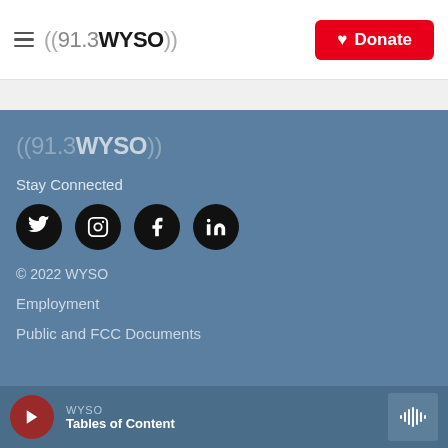((91.3WYSO)) | Donate
[Figure (logo): 91.3 WYSO radio station logo in footer]
Stay Connected
[Figure (infographic): Social media icons: Twitter, Instagram, Facebook, LinkedIn]
© 2022 WYSO
Employment
Public and FCC Documents
WYSO | Tables of Content